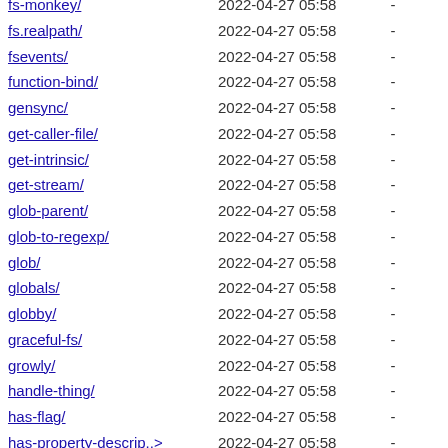fs-monkey/  2022-04-27 05:58  -
fs.realpath/  2022-04-27 05:58  -
fsevents/  2022-04-27 05:58  -
function-bind/  2022-04-27 05:58  -
gensync/  2022-04-27 05:58  -
get-caller-file/  2022-04-27 05:58  -
get-intrinsic/  2022-04-27 05:58  -
get-stream/  2022-04-27 05:58  -
glob-parent/  2022-04-27 05:58  -
glob-to-regexp/  2022-04-27 05:58  -
glob/  2022-04-27 05:58  -
globals/  2022-04-27 05:58  -
globby/  2022-04-27 05:58  -
graceful-fs/  2022-04-27 05:58  -
growly/  2022-04-27 05:58  -
handle-thing/  2022-04-27 05:58  -
has-flag/  2022-04-27 05:58  -
has-property-descrip..>  2022-04-27 05:58  -
has-symbols/  2022-04-27 05:58  -
has/  2022-04-27 05:58  -
hash-base/  2022-04-27 05:58  -